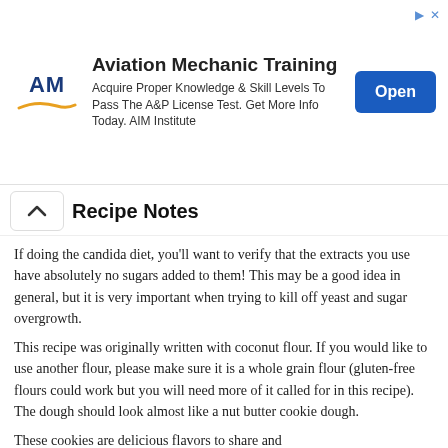[Figure (other): Advertisement banner for Aviation Mechanic Training by AIM Institute. Shows AM logo with swoosh, title 'Aviation Mechanic Training', description text, and a blue 'Open' button.]
Recipe Notes
If doing the candida diet, you'll want to verify that the extracts you use have absolutely no sugars added to them! This may be a good idea in general, but it is very important when trying to kill off yeast and sugar overgrowth.
This recipe was originally written with coconut flour. If you would like to use another flour, please make sure it is a whole grain flour (gluten-free flours could work but you will need more of it called for in this recipe). The dough should look almost like a nut butter cookie dough.
These cookies are delicious flavors to share and...